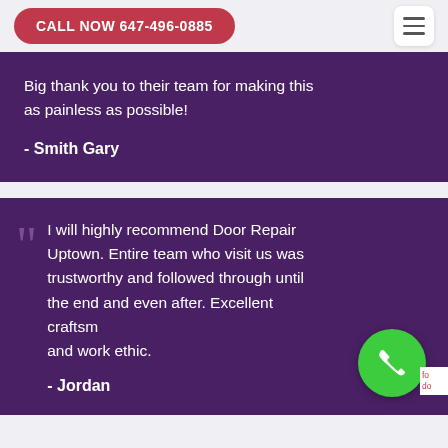CALL NOW 647-496-0885
Big thank you to their team for making this as painless as possible!
- Smith Gary
I will highly recommend Door Repair Uptown. Entire team who visit us was trustworthy and followed through until the end and even after. Excellent craftsmanship and work ethic.
- Jordan